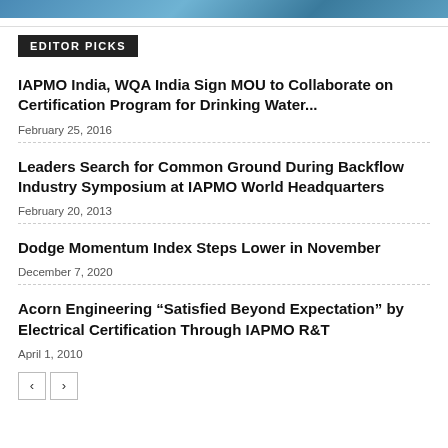[Figure (photo): Blue water/ocean banner image at top of page]
EDITOR PICKS
IAPMO India, WQA India Sign MOU to Collaborate on Certification Program for Drinking Water...
February 25, 2016
Leaders Search for Common Ground During Backflow Industry Symposium at IAPMO World Headquarters
February 20, 2013
Dodge Momentum Index Steps Lower in November
December 7, 2020
Acorn Engineering “Satisfied Beyond Expectation” by Electrical Certification Through IAPMO R&T
April 1, 2010